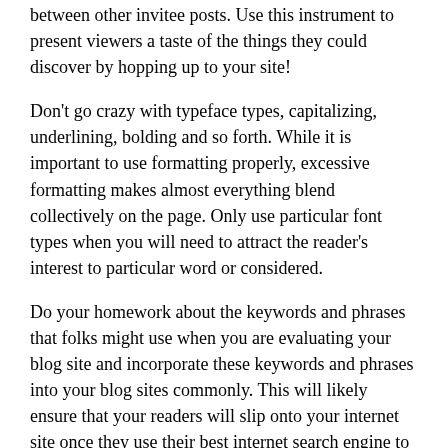between other invitee posts. Use this instrument to present viewers a taste of the things they could discover by hopping up to your site!
Don't go crazy with typeface types, capitalizing, underlining, bolding and so forth. While it is important to use formatting properly, excessive formatting makes almost everything blend collectively on the page. Only use particular font types when you will need to attract the reader's interest to particular word or considered.
Do your homework about the keywords and phrases that folks might use when you are evaluating your blog site and incorporate these keywords and phrases into your blog sites commonly. This will likely ensure that your readers will slip onto your internet site once they use their best internet search engine to look through to your unique topic. This is a simple and easy highly effective tip that will improve your readership.
Stay away from the excessive use of individual pronouns. When https://www.instapaper.com/p/robinmaid99 of your blog is on its way from an I, me or perhaps you perspective, it can turn your